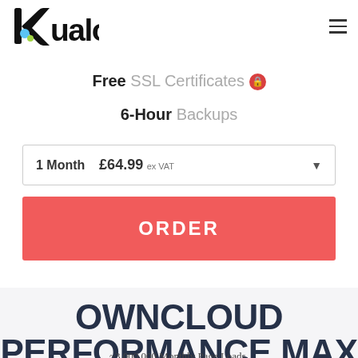[Figure (logo): Kualo logo in black with colorful K icon]
Free SSL Certificates
6-Hour Backups
1 Month  £64.99 ex VAT
ORDER
OWNCLOUD PERFORMANCE MAX
~3,000,000 Monthly Page Loads.